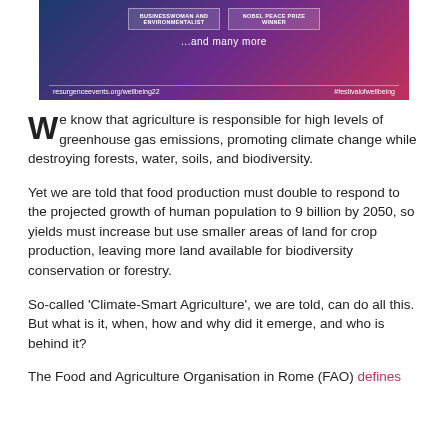[Figure (infographic): Promotional banner for a festival of wellbeing showing event website resurgenceevents.org/wellbeing22 and hashtag #festivalofwellbeing, with two white boxes listing speaker categories (BUSINESSWOMAN AND ENVIRONMENTALIST, NOBEL PEACE PRIZE WINNER) and the text '...and many more']
We know that agriculture is responsible for high levels of greenhouse gas emissions, promoting climate change while destroying forests, water, soils, and biodiversity.
Yet we are told that food production must double to respond to the projected growth of human population to 9 billion by 2050, so yields must increase but use smaller areas of land for crop production, leaving more land available for biodiversity conservation or forestry.
So-called 'Climate-Smart Agriculture', we are told, can do all this. But what is it, when, how and why did it emerge, and who is behind it?
The Food and Agriculture Organisation in Rome (FAO) defines